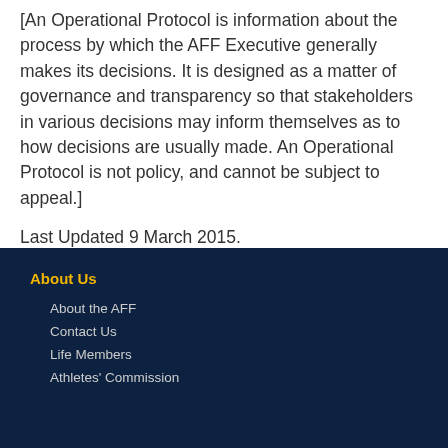[An Operational Protocol is information about the process by which the AFF Executive generally makes its decisions. It is designed as a matter of governance and transparency so that stakeholders in various decisions may inform themselves as to how decisions are usually made. An Operational Protocol is not policy, and cannot be subject to appeal.]
Last Updated 9 March 2015.
About Us
About the AFF
Contact Us
Life Members
Athletes' Commission